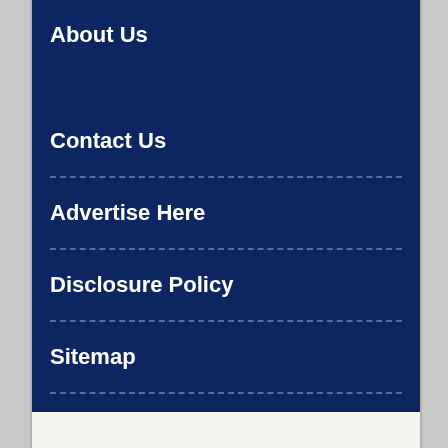About Us
Contact Us
Advertise Here
Disclosure Policy
Sitemap
Support Links